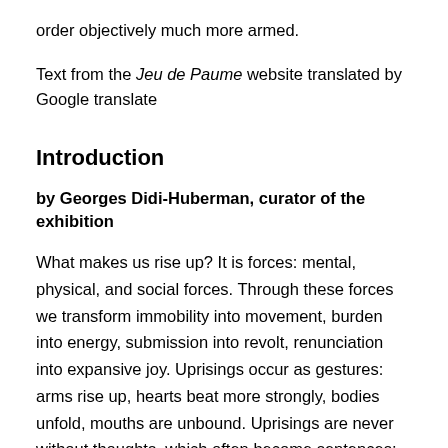order objectively much more armed.
Text from the Jeu de Paume website translated by Google translate
Introduction
by Georges Didi-Huberman, curator of the exhibition
What makes us rise up? It is forces: mental, physical, and social forces. Through these forces we transform immobility into movement, burden into energy, submission into revolt, renunciation into expansive joy. Uprisings occur as gestures: arms rise up, hearts beat more strongly, bodies unfold, mouths are unbound. Uprisings are never without thoughts, which often become sentences: we